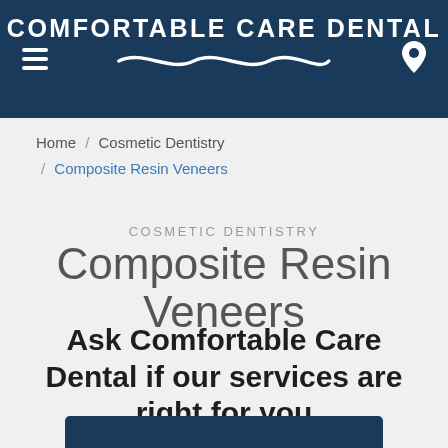COMFORTABLE CARE DENTAL
Home / Cosmetic Dentistry / Composite Resin Veneers
COSMETIC DENTISTRY
Composite Resin Veneers
Ask Comfortable Care Dental if our services are right for you